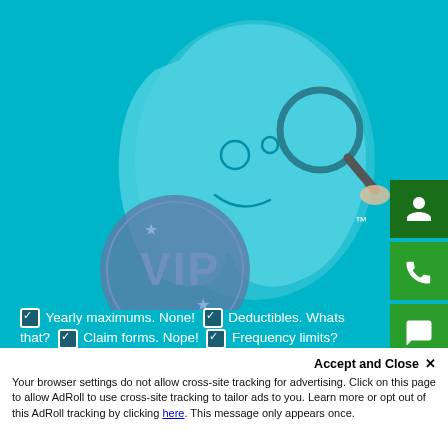[Figure (illustration): Teal background with a cartoon tooth character holding a magnifying glass and a VIP badge/circle on the left side. TM mark visible. Decorative dental plan illustration.]
☑ Yearly maximums. None! ☑ Deductibles. Whats that? ☑ Claim forms. Nope! ☑ Frequency limits? None! ☑ No pre-authorization requirements. ☑ Pre-existing condition limitations. None! ☑ No one will be denied coverage. ☑ No waiting periods (immediate eligibility).
For more details about what the plan includes, visit
Accept and Close ✕
Your browser settings do not allow cross-site tracking for advertising. Click on this page to allow AdRoll to use cross-site tracking to tailor ads to you. Learn more or opt out of this AdRoll tracking by clicking here. This message only appears once.